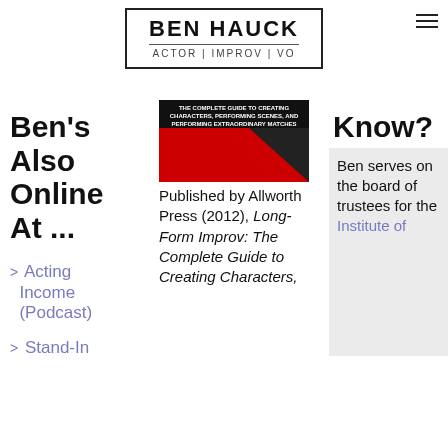BEN HAUCK | ACTOR | IMPROV | VO
Ben's Also Online At ...
[Figure (illustration): Book cover for Long-Form Improv: The Complete Guide to Creating Characters, Performing Scenes, and Performing Extraordinary Matches, published by Allworth Press]
Published by Allworth Press (2012), Long-Form Improv: The Complete Guide to Creating Characters,
> Acting Income (Podcast)
> Stand-In
Know?
Ben serves on the board of trustees for the Institute of